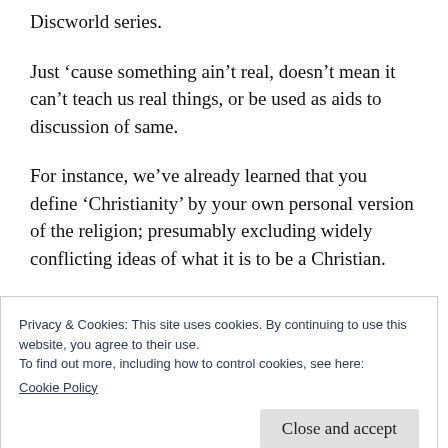Discworld series.
Just ‘cause something ain’t real, doesn’t mean it can’t teach us real things, or be used as aids to discussion of same.
For instance, we’ve already learned that you define ‘Christianity’ by your own personal version of the religion; presumably excluding widely conflicting ideas of what it is to be a Christian.
Privacy & Cookies: This site uses cookies. By continuing to use this website, you agree to their use.
To find out more, including how to control cookies, see here:
Cookie Policy
Close and accept
worship it/him neither.